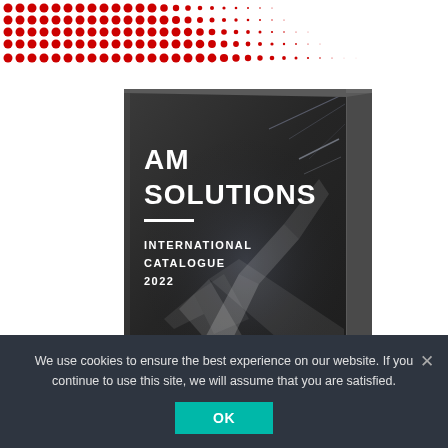[Figure (illustration): Red halftone dot pattern in the top-left corner of the page, fading to the right]
[Figure (photo): 3D rendered book/catalogue cover with dark background showing 'AM SOLUTIONS' in large white bold text, a white horizontal line, then 'INTERNATIONAL CATALOGUE 2022' in smaller white text. The cover has geometric light streaks and the book is shown in perspective with a spine on the right side.]
We use cookies to ensure the best experience on our website. If you continue to use this site, we will assume that you are satisfied.
OK